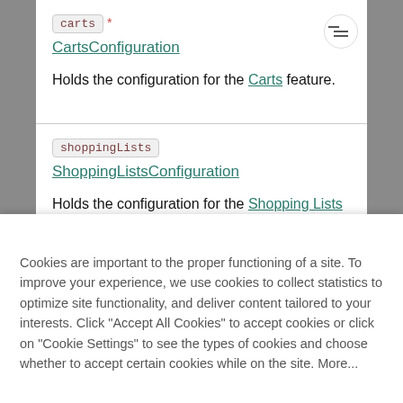carts * CartsConfiguration
Holds the configuration for the Carts feature.
shoppingLists ShoppingListsConfiguration
Holds the configuration for the Shopping Lists feature. This field may not be present on Projects created before January 2020.
shippingRateInputType
Cookies are important to the proper functioning of a site. To improve your experience, we use cookies to collect statistics to optimize site functionality, and deliver content tailored to your interests. Click "Accept All Cookies" to accept cookies or click on "Cookie Settings" to see the types of cookies and choose whether to accept certain cookies while on the site. More...